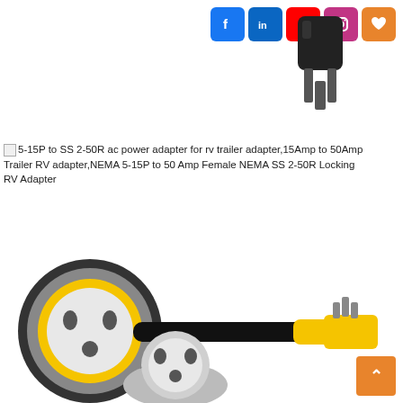[Figure (photo): Social media icons: Facebook, LinkedIn, YouTube, Instagram, and a heart/wishlist icon arranged horizontally in the top right]
[Figure (photo): A black electrical plug (NEMA 5-15P standard 3-prong plug) shown from above/front angle, top right of page]
5-15P to SS 2-50R ac power adapter for rv trailer adapter,15Amp to 50Amp Trailer RV adapter,NEMA 5-15P to 50 Amp Female NEMA SS 2-50R Locking RV Adapter
[Figure (photo): Main product photo: yellow and black RV power adapter cable with a large round locking female connector (SS 2-50R) on the left and a standard male 3-prong plug on the right]
[Figure (photo): Bottom partial view of a round locking connector (SS 2-50R female face) on a chrome/silver base, partially visible at the bottom center of the page]